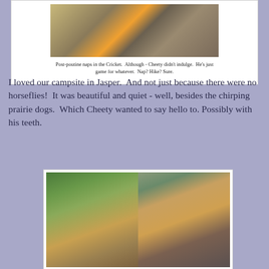[Figure (photo): Dog (Cheety) sleeping on a bed/bunk in what appears to be a camper (Cricket), with a person visible in the background.]
Post-poutine naps in the Cricket.  Although - Cheety didn't indulge.  He's just game for whatever.  Nap? Hike? Sure.
I loved our campsite in Jasper.  And not just because there were no horseflies!  It was beautiful and quiet - well, besides the chirping prairie dogs.  Which Cheety wanted to say hello to. Possibly with his teeth.
[Figure (photo): Two side-by-side photos: left shows a prairie dog standing upright in grass; right shows Cheety the dog lying down looking at the camera.]